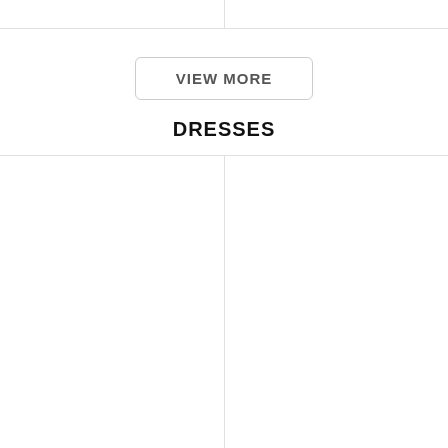[Figure (other): Top two-column grid with light border divider, empty image placeholders]
VIEW MORE
DRESSES
[Figure (other): Bottom two-column grid with light border divider, empty image placeholders]